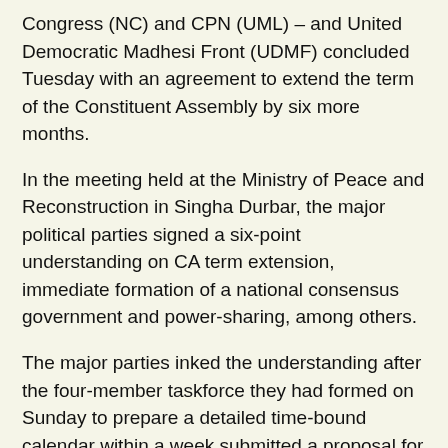Congress (NC) and CPN (UML) – and United Democratic Madhesi Front (UDMF) concluded Tuesday with an agreement to extend the term of the Constituent Assembly by six more months.
In the meeting held at the Ministry of Peace and Reconstruction in Singha Durbar, the major political parties signed a six-point understanding on CA term extension, immediate formation of a national consensus government and power-sharing, among others.
The major parties inked the understanding after the four-member taskforce they had formed on Sunday to prepare a detailed time-bound calendar within a week submitted a proposal for the six-month term extension of CA.
With the Supreme Court's ruling that the term of the